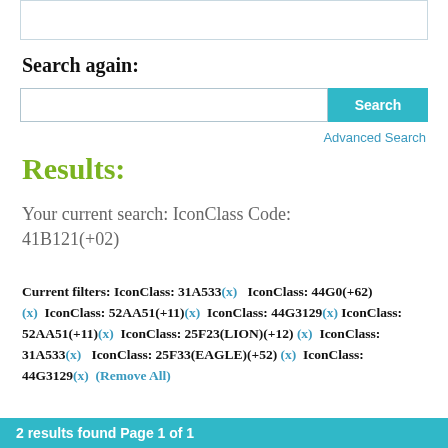Search again:
[Figure (screenshot): Search input box with cyan Search button and Advanced Search link]
Results:
Your current search: IconClass Code: 41B121(+02)
Current filters: IconClass: 31A533(x)   IconClass: 44G0(+62)(x)   IconClass: 52AA51(+11)(x)   IconClass: 44G3129(x) IconClass: 52AA51(+11)(x)   IconClass: 25F23(LION)(+12)(x)   IconClass: 31A533(x)   IconClass: 25F33(EAGLE)(+52)(x)   IconClass: 44G3129(x)   (Remove All)
2 results found Page 1 of 1